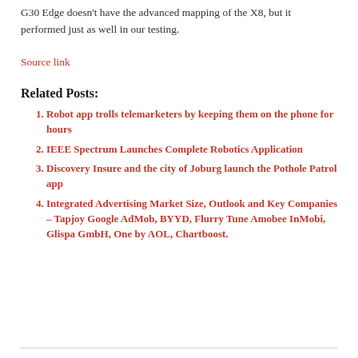G30 Edge doesn't have the advanced mapping of the X8, but it performed just as well in our testing.
Source link
Related Posts:
Robot app trolls telemarketers by keeping them on the phone for hours
IEEE Spectrum Launches Complete Robotics Application
Discovery Insure and the city of Joburg launch the Pothole Patrol app
Integrated Advertising Market Size, Outlook and Key Companies – Tapjoy Google AdMob, BYYD, Flurry Tune Amobee InMobi, Glispa GmbH, One by AOL, Chartboost.